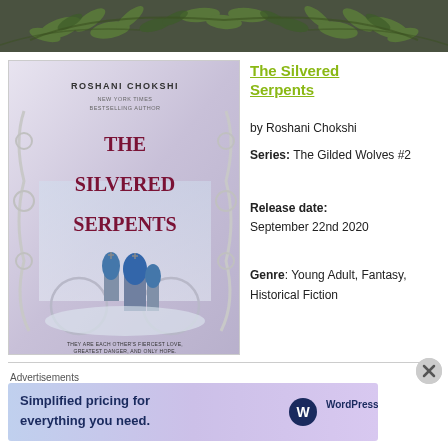[Figure (illustration): Decorative floral/leaf garland banner across the top of the page, with green watercolor leaves and branches on a dark background.]
[Figure (illustration): Book cover of 'The Silvered Serpents' by Roshani Chokshi. Features ornate silver scrollwork framing, a wintry Russian-style building with colorful domes in the background, and deep red title text. Tagline reads 'They are each other's fiercest love, greatest danger, and only hope.']
The Silvered Serpents
by Roshani Chokshi
Series: The Gilded Wolves #2
Release date: September 22nd 2020
Genre: Young Adult, Fantasy, Historical Fiction
Advertisements
[Figure (screenshot): WordPress.com advertisement banner: 'Simplified pricing for everything you need.' with WordPress.com logo on a light purple/blue gradient background.]